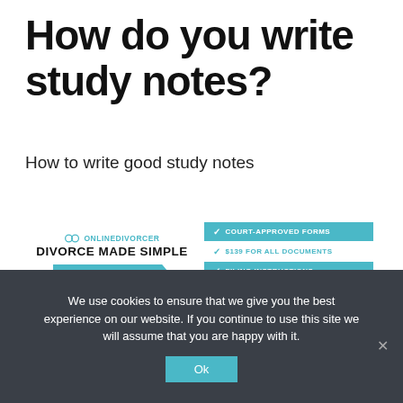How do you write study notes?
How to write good study notes
[Figure (infographic): OnlineDivorcer advertisement banner: logo with two rings icon and 'ONLINEDIVORCER' text, headline 'DIVORCE MADE SIMPLE', cyan 'GET STARTED' arrow button on the left; on the right: cyan highlighted 'COURT-APPROVED FORMS', '$139 FOR ALL DOCUMENTS', 'FILING INSTRUCTIONS' and plain 'checkmark 24/7 CUSTOMER SUPPORT' feature list]
We use cookies to ensure that we give you the best experience on our website. If you continue to use this site we will assume that you are happy with it.